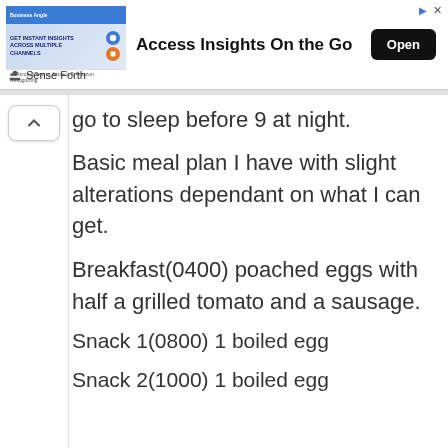[Figure (screenshot): Advertisement banner for 'Access Insights On the Go' with an image on the left, bold headline text in the center, and an 'Open' button on the right. A 'Sense Forth' attribution is below the ad.]
go to sleep before 9 at night.
Basic meal plan I have with slight alterations dependant on what I can get.
Breakfast(0400) poached eggs with half a grilled tomato and a sausage.
Snack 1(0800) 1 boiled egg
Snack 2(1000) 1 boiled egg